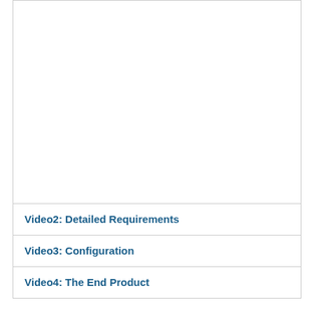[Figure (other): Large empty white cell area inside a bordered table, representing an embedded video placeholder area at the top of the page.]
Video2: Detailed Requirements
Video3: Configuration
Video4: The End Product
Watch how we solve real business problems with Intellimas!  In these videos, we take you through a simple example of how we